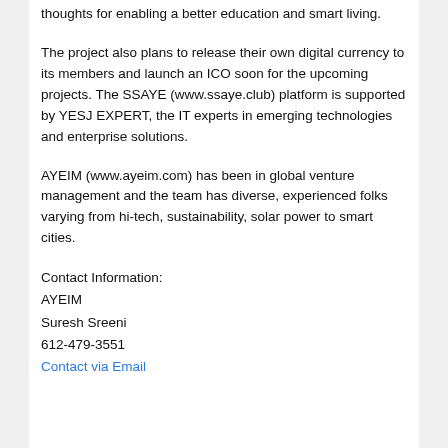thoughts for enabling a better education and smart living.
The project also plans to release their own digital currency to its members and launch an ICO soon for the upcoming projects. The SSAYE (www.ssaye.club) platform is supported by YESJ EXPERT, the IT experts in emerging technologies and enterprise solutions.
AYEIM (www.ayeim.com) has been in global venture management and the team has diverse, experienced folks varying from hi-tech, sustainability, solar power to smart cities.
Contact Information:
AYEIM
Suresh Sreeni
612-479-3551
Contact via Email